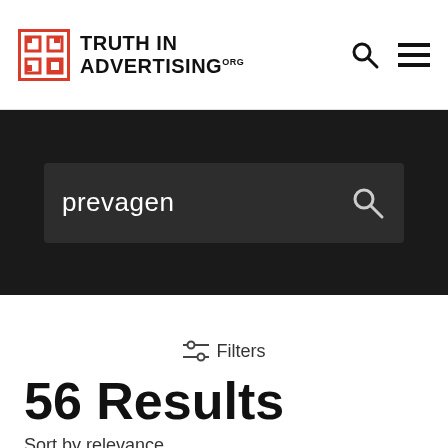TRUTH IN ADVERTISING.ORG
[Figure (screenshot): Search bar on dark background with query 'prevagen' and search icon]
Filters
56 Results
Sort by relevance